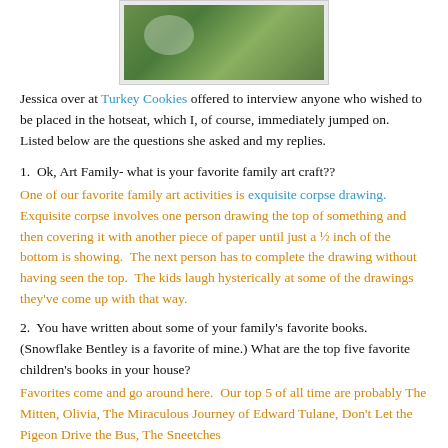[Figure (photo): Photo of children sitting on grass, cropped at top of page]
Jessica over at Turkey Cookies offered to interview anyone who wished to be placed in the hotseat, which I, of course, immediately jumped on.  Listed below are the questions she asked and my replies.
1.  Ok, Art Family- what is your favorite family art craft??
One of our favorite family art activities is exquisite corpse drawing. Exquisite corpse involves one person drawing the top of something and then covering it with another piece of paper until just a ½ inch of the bottom is showing.  The next person has to complete the drawing without having seen the top.  The kids laugh hysterically at some of the drawings they've come up with that way.
2.  You have written about some of your family's favorite books. (Snowflake Bentley is a favorite of mine.) What are the top five favorite children's books in your house?
Favorites come and go around here.  Our top 5 of all time are probably The Mitten, Olivia, The Miraculous Journey of Edward Tulane, Don't Let the Pigeon Drive the Bus, The Sneetches